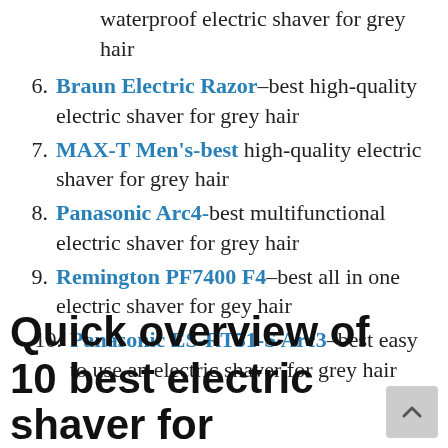waterproof electric shaver for grey hair
6. Braun Electric Razor–best high-quality electric shaver for grey hair
7. MAX-T Men's-best high-quality electric shaver for grey hair
8. Panasonic Arc4-best multifunctional electric shaver for grey hair
9. Remington PF7400 F4–best all in one electric shaver for gey hair
10. Panasonic ES-RT51-S Arc3–best easy to use an electric shaver for grey hair
Quick overview of 10 best electric shaver for